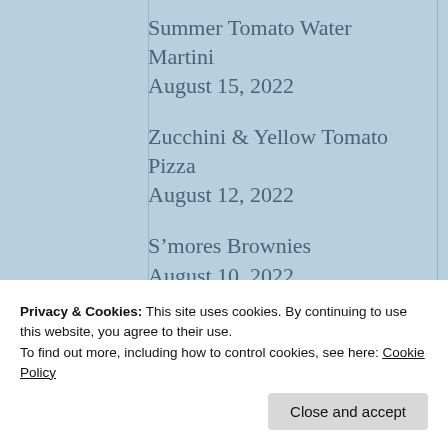Summer Tomato Water Martini
August 15, 2022
Zucchini & Yellow Tomato Pizza
August 12, 2022
S’mores Brownies
August 10, 2022
Garden Veggie Spiral Quiche
Privacy & Cookies: This site uses cookies. By continuing to use this website, you agree to their use.
To find out more, including how to control cookies, see here: Cookie Policy
July 28, 2022